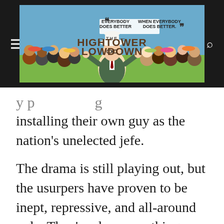[Figure (logo): The Hightower Lowdown website header logo with the tagline 'Everybody Does Better When Everybody Does Better' and an illustration of a man in a cowboy hat surrounded by a diverse crowd.]
installing their own guy as the nation's unelected jefe.
The drama is still playing out, but the usurpers have proven to be inept, repressive, and all-around ugly. They've drawn scathing denunciations from every other Latin American country, as well as our own. So, the cabal is now taking steps to